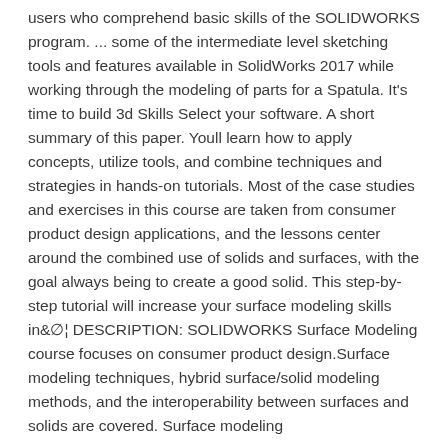users who comprehend basic skills of the SOLIDWORKS program. ... some of the intermediate level sketching tools and features available in SolidWorks 2017 while working through the modeling of parts for a Spatula. It's time to build 3d Skills Select your software. A short summary of this paper. Youll learn how to apply concepts, utilize tools, and combine techniques and strategies in hands-on tutorials. Most of the case studies and exercises in this course are taken from consumer product design applications, and the lessons center around the combined use of solids and surfaces, with the goal always being to create a good solid. This step-by-step tutorial will increase your surface modeling skills in⚐ DESCRIPTION: SOLIDWORKS Surface Modeling course focuses on consumer product design.Surface modeling techniques, hybrid surface/solid modeling methods, and the interoperability between surfaces and solids are covered. Surface modeling